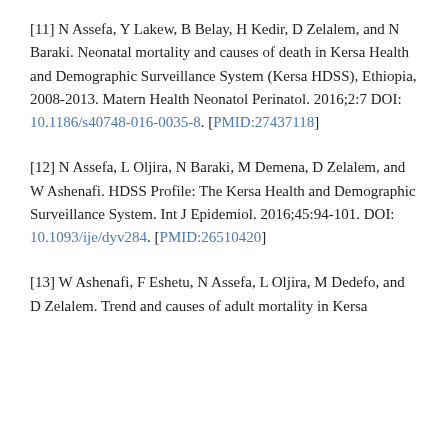[11] N Assefa, Y Lakew, B Belay, H Kedir, D Zelalem, and N Baraki. Neonatal mortality and causes of death in Kersa Health and Demographic Surveillance System (Kersa HDSS), Ethiopia, 2008-2013. Matern Health Neonatol Perinatol. 2016;2:7 DOI: 10.1186/s40748-016-0035-8. [PMID:27437118]
[12] N Assefa, L Oljira, N Baraki, M Demena, D Zelalem, and W Ashenafi. HDSS Profile: The Kersa Health and Demographic Surveillance System. Int J Epidemiol. 2016;45:94-101. DOI: 10.1093/ije/dyv284. [PMID:26510420]
[13] W Ashenafi, F Eshetu, N Assefa, L Oljira, M Dedefo, and D Zelalem. Trend and causes of adult mortality in Kersa